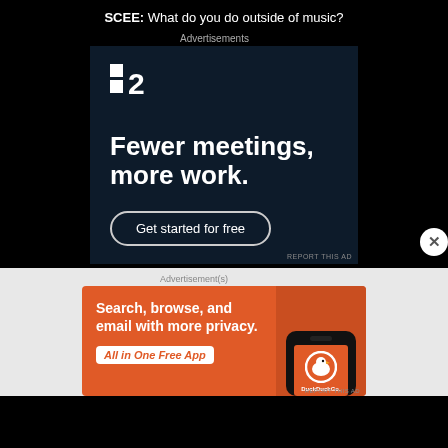SCEE: What do you do outside of music?
Advertisements
[Figure (screenshot): Advertisement for a project management tool (P2 logo). Dark navy background with white text reading 'Fewer meetings, more work.' and a button 'Get started for free'.]
Advertisement(s)
[Figure (screenshot): DuckDuckGo advertisement on orange background. Text: 'Search, browse, and email with more privacy. All in One Free App' with a phone showing DuckDuckGo logo.]